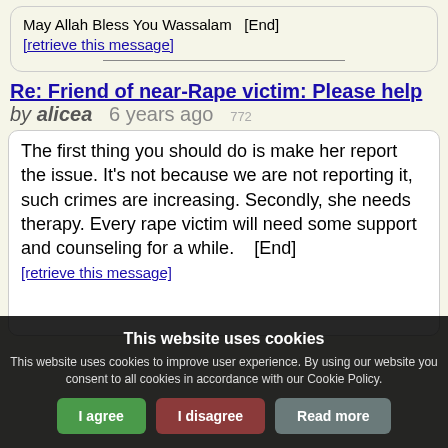May Allah Bless You Wassalam   [End]
[retrieve this message]
Re: Friend of near-Rape victim: Please help by alicea  6 years ago  772
The first thing you should do is make her report the issue. It's not because we are not reporting it, such crimes are increasing. Secondly, she needs therapy. Every rape victim will need some support and counseling for a while.    [End]
[retrieve this message]
This website uses cookies
This website uses cookies to improve user experience. By using our website you consent to all cookies in accordance with our Cookie Policy.
I agree   I disagree   Read more